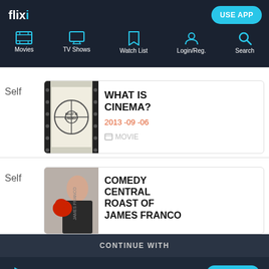[Figure (screenshot): Flixi app navigation bar with logo, USE APP button, and nav icons for Movies, TV Shows, Watch List, Login/Reg., Search]
Self
[Figure (other): Movie thumbnail for What Is Cinema? - film reel image]
WHAT IS CINEMA?
2013-09-06
MOVIE
Self
[Figure (photo): Comedy Central Roast of James Franco - James Franco with boxing gloves]
COMEDY CENTRAL ROAST OF JAMES FRANCO
CONTINUE WITH
FLIXI APP
CHROME